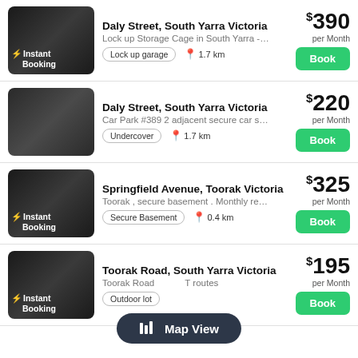[Figure (screenshot): Listing image for Daly Street South Yarra with Instant Booking badge]
Daly Street, South Yarra Victoria
Lock up Storage Cage in South Yarra - 24/7 Ac...
Lock up garage · 1.7 km
$390 per Month
Book
[Figure (screenshot): Listing image for Daly Street South Yarra with Available 30 Aug 22 badge]
Daly Street, South Yarra Victoria
Car Park #389 2 adjacent secure car spaces in ...
Undercover · 1.7 km
$220 per Month
Book
[Figure (screenshot): Listing image for Springfield Avenue Toorak with Instant Booking badge]
Springfield Avenue, Toorak Victoria
Toorak , secure basement . Monthly rental only.
Secure Basement · 0.4 km
$325 per Month
Book
[Figure (screenshot): Listing image for Toorak Road South Yarra with Instant Booking badge]
Toorak Road, South Yarra Victoria
Toorak Road ... T routes
Outdoor lot
$195 per Month
Book
Map View